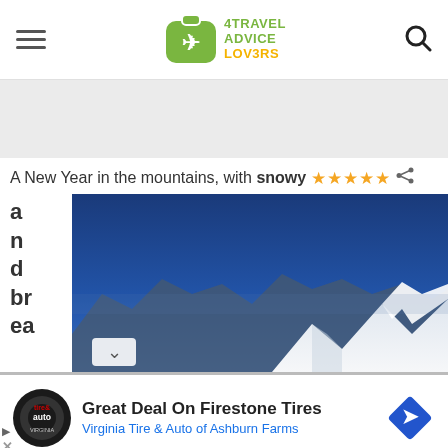4Travel Advice Lovers
[Figure (other): Gray advertisement banner area]
A New Year in the mountains, with snowy and breathtaking
[Figure (photo): Snow-covered mountain landscape with deep blue sky, snowy peaks visible at bottom right]
[Figure (other): Advertisement: Great Deal On Firestone Tires - Virginia Tire & Auto of Ashburn Farms]